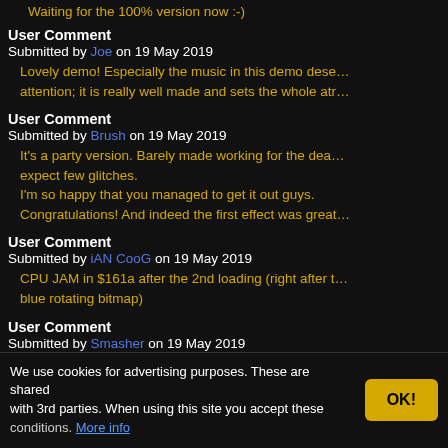Waiting for the 100% version now :-)
User Comment
Submitted by Joe on 19 May 2019
Lovely demo! Especially the music in this demo deserves attention; it is really well made and sets the whole atmosphere.
User Comment
Submitted by Brush on 19 May 2019
It's a party version. Barely made working for the deadline, expect few glitches.
I'm so happy that you managed to get it out guys.
Congratulations! And indeed the first effect was great.
User Comment
Submitted by iAN CooG on 19 May 2019
CPU JAM in $161a after the 2nd loading (right after the blue rotating bitmap)
User Comment
Submitted by Smasher on 19 May 2019
the 1st effect is very cool.
About this site: CSDb (Commodore 64 Scene Database) is a website which goal is to gather as much information on the C64 computer - the worlds most popular home computer throughout time. Here you can find almost anything being added every day. As this website is scene related, you can mostly find demos, music and graphics, but you can also find a lot of the old classic games here. Try out the search box in the top right corner.
We use cookies for advertising purposes. These are shared with 3rd parties. When using this site you accept these conditions. More info